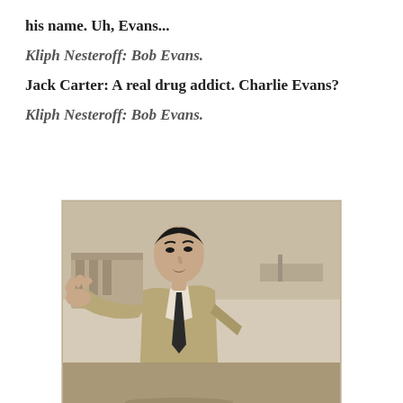his name. Uh, Evans...
Kliph Nesteroff: Bob Evans.
Jack Carter: A real drug addict. Charlie Evans?
Kliph Nesteroff: Bob Evans.
[Figure (photo): Black and white photograph of a man in a suit and tie, gesturing with his hand toward the camera, with a building visible in the background.]